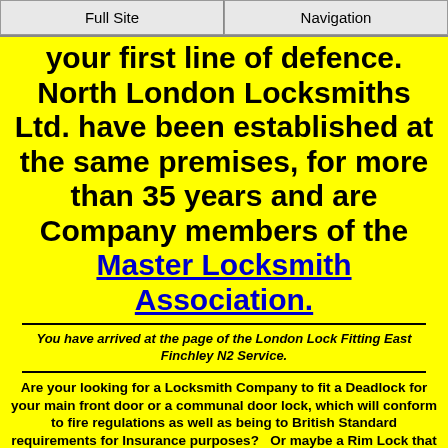Full Site | Navigation
your first line of defence. North London Locksmiths Ltd. have been established at the same premises, for more than 35 years and are Company members of the Master Locksmith Association.
You have arrived at the page of the London Lock Fitting East Finchley N2 Service.
Are your looking for a Locksmith Company to fit a Deadlock for your main front door or a communal door lock, which will conform to fire regulations as well as being to British Standard requirements for Insurance purposes?   Or maybe a Rim Lock that also conforms to Insurance  requirements, maybe for an interior office or home door lock.